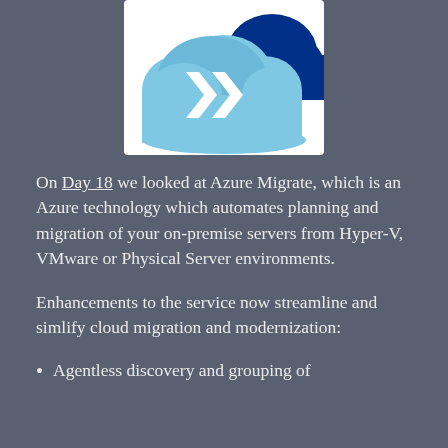[Figure (logo): Azure Migrate logo: light blue cloud shape with two white chevron/arrow symbols pointing right, and a dark blue cloud shape in the background upper-right.]
On Day 18 we looked at Azure Migrate, which is an Azure technology which automates planning and migration of your on-premise servers from Hyper-V, VMware or Physical Server environments.
Enhancements to the service now streamline and simlify cloud migration and modernization:
Agentless discovery and grouping of